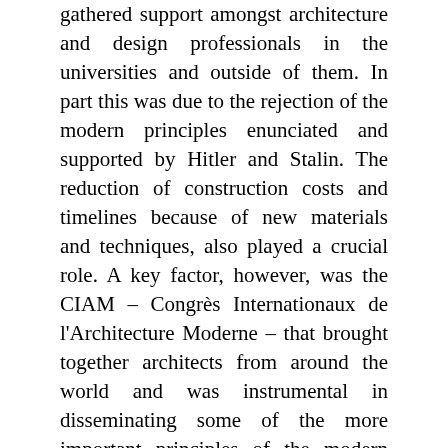gathered support amongst architecture and design professionals in the universities and outside of them. In part this was due to the rejection of the modern principles enunciated and supported by Hitler and Stalin. The reduction of construction costs and timelines because of new materials and techniques, also played a crucial role. A key factor, however, was the CIAM – Congrès Internationaux de l'Architecture Moderne – that brought together architects from around the world and was instrumental in disseminating some of the more important principles of the modern movement. The Athens Charter (1933), adopted at CIAM's fourth conference in the Greek